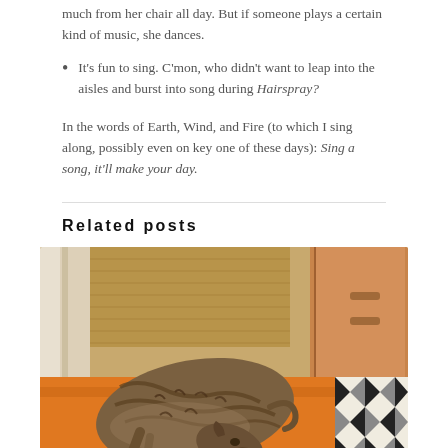much from her chair all day. But if someone plays a certain kind of music, she dances.
It's fun to sing. C'mon, who didn't want to leap into the aisles and burst into song during Hairspray?
In the words of Earth, Wind, and Fire (to which I sing along, possibly even on key one of these days): Sing a song, it'll make your day.
Related posts
[Figure (photo): A brindle greyhound or similar dog curled up and sleeping on an orange blanket, with wooden furniture and a geometric black and white rug visible in the background.]